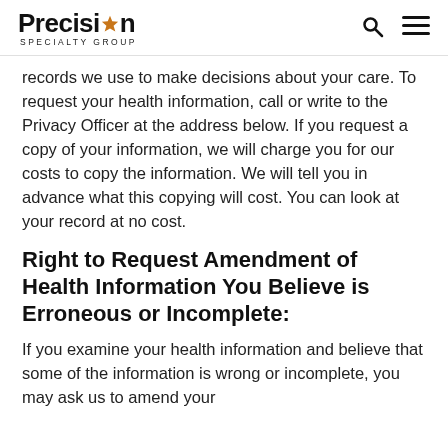Precision Specialty Group
records we use to make decisions about your care. To request your health information, call or write to the Privacy Officer at the address below. If you request a copy of your information, we will charge you for our costs to copy the information. We will tell you in advance what this copying will cost. You can look at your record at no cost.
Right to Request Amendment of Health Information You Believe is Erroneous or Incomplete:
If you examine your health information and believe that some of the information is wrong or incomplete, you may ask us to amend your